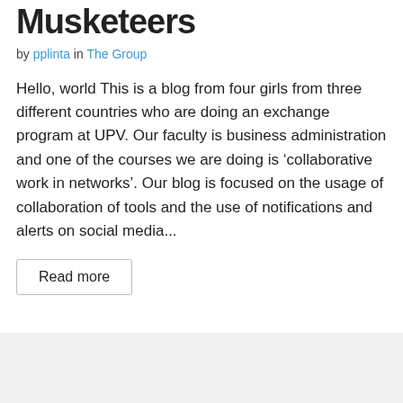Musketeers
by pplinta in The Group
Hello, world This is a blog from four girls from three different countries who are doing an exchange program at UPV. Our faculty is business administration and one of the courses we are doing is ‘collaborative work in networks’. Our blog is focused on the usage of collaboration of tools and the use of notifications and alerts on social media...
Read more